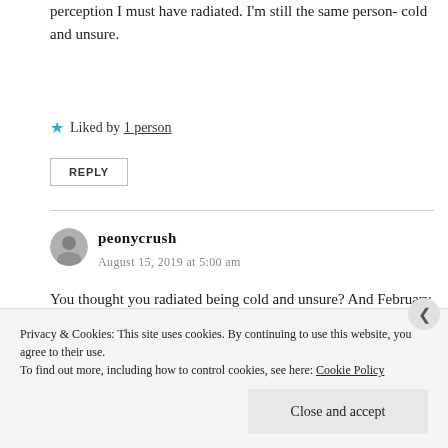perception I must have radiated. I'm still the same person- cold and unsure.
★ Liked by 1 person
REPLY
peonycrush
August 15, 2019 at 5:00 am
You thought you radiated being cold and unsure? And February was when we spoke off WordPress I'm
Privacy & Cookies: This site uses cookies. By continuing to use this website, you agree to their use.
To find out more, including how to control cookies, see here: Cookie Policy
Close and accept